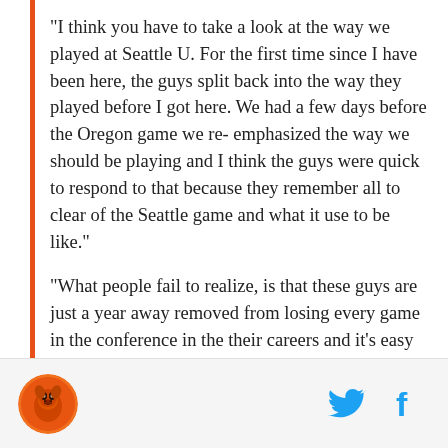"I think you have to take a look at the way we played at Seattle U. For the first time since I have been here, the guys split back into the way they played before I got here. We had a few days before the Oregon game we re- emphasized the way we should be playing and I think the guys were quick to respond to that because they remember all to clear of the Seattle game and what it use to be like."
"What people fail to realize, is that these guys are just a year away removed from losing every game in the conference in the their careers and it's easy to slip back into that if you take your eye off the ball a little bit. When you start to feel good about yourself, you slip back into the bad habits because they are
[Figure (logo): Orange circular logo with a stylized letter or animal icon]
[Figure (logo): Twitter bird icon in teal/cyan color]
[Figure (logo): Facebook 'f' icon in teal/cyan color]